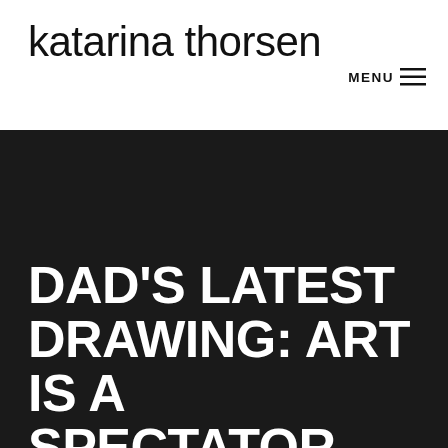katarina thorsen
MENU ☰
DAD'S LATEST DRAWING: ART IS A SPECTATOR